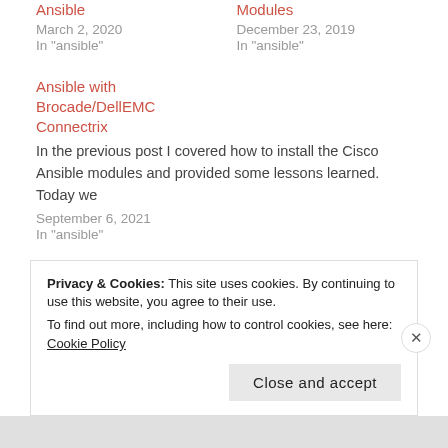Ansible
March 2, 2020
In "ansible"
Modules
December 23, 2019
In "ansible"
Ansible with Brocade/DellEMC Connectrix
In the previous post I covered how to install the Cisco Ansible modules and provided some lessons learned. Today we
September 6, 2021
In "ansible"
Privacy & Cookies: This site uses cookies. By continuing to use this website, you agree to their use.
To find out more, including how to control cookies, see here: Cookie Policy
Close and accept